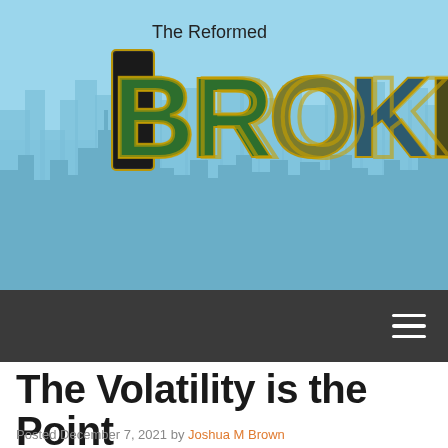[Figure (illustration): The Reformed Broker website header banner with a blue sky and city skyline silhouette background, featuring the site name 'The Reformed' in plain text above large stylized 'BROKER' letters filled with photographic imagery, on a light blue background.]
The Reformed Broker
The Volatility is the Point
Posted December 7, 2021 by Joshua M Brown